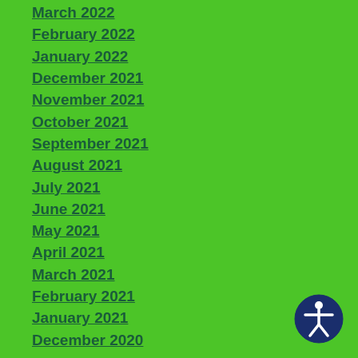March 2022
February 2022
January 2022
December 2021
November 2021
October 2021
September 2021
August 2021
July 2021
June 2021
May 2021
April 2021
March 2021
February 2021
January 2021
December 2020
[Figure (illustration): Accessibility icon: circular dark blue button with white human figure with arms and legs spread, indicating accessibility features]